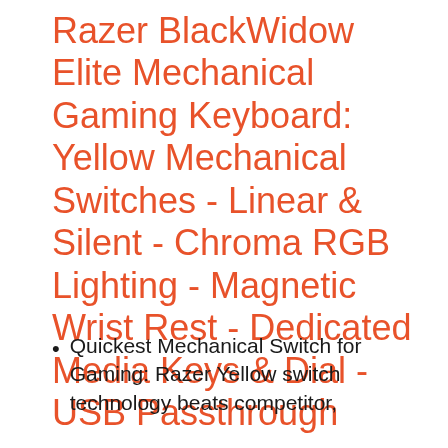Razer BlackWidow Elite Mechanical Gaming Keyboard: Yellow Mechanical Switches - Linear & Silent - Chroma RGB Lighting - Magnetic Wrist Rest - Dedicated Media Keys & Dial - USB Passthrough
Quickest Mechanical Switch for Gaming: Razer Yellow switch technology beats competitor,